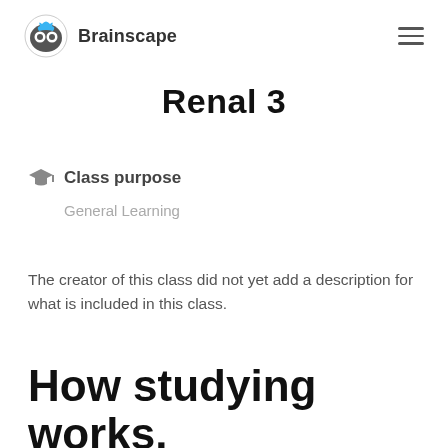Brainscape
Renal 3
Class purpose
General Learning
The creator of this class did not yet add a description for what is included in this class.
How studying works.